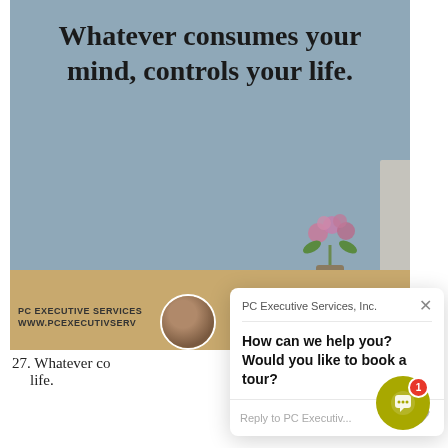[Figure (screenshot): A screenshot of a webpage showing a photo of a desk with a wall bearing the quote 'Whatever consumes your mind, controls your life.' with a PC Executive Services logo and avatar, overlaid by a chat popup from PC Executive Services Inc. saying 'How can we help you? Would you like to book a tour?' with a reply input field, and a chat widget button with a notification badge of 1 in the bottom right.]
PC EXECUTIVE SERVICES
WWW.PCEXECUTIVSERV
How can we help you? Would you like to book a tour?
PC Executive Services, Inc.
Reply to PC Executiv...
27. Whatever co
life.
Whatever consumes your mind, controls your life.